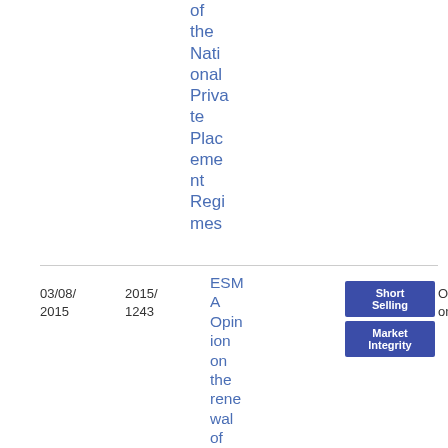of the National Private Placement Regimes
| Date | Reference | Title | Tags | Type | File |
| --- | --- | --- | --- | --- | --- |
| 03/08/2015 | 2015/1243 | ESMA Opinion on the renewal of ome... | Short Selling / Market Integrity | Opinion | PDF
17
4.49 KB |